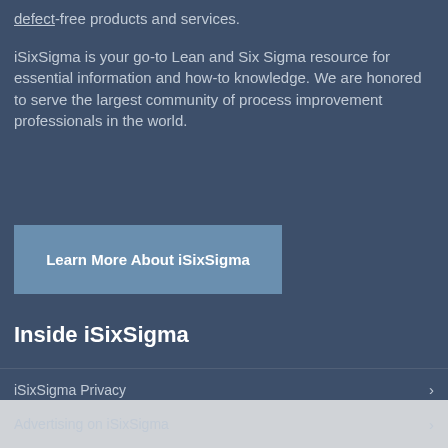defect-free products and services.
iSixSigma is your go-to Lean and Six Sigma resource for essential information and how-to knowledge. We are honored to serve the largest community of process improvement professionals in the world.
Learn More About iSixSigma
Inside iSixSigma
iSixSigma Privacy
Submit an Article or Blog for Publishing
Advertising on iSixSigma